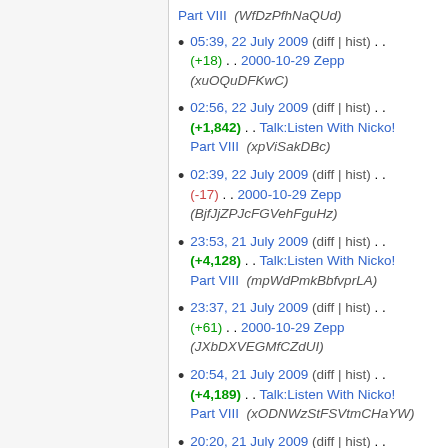Part VIII  (WfDzPfhNaQUd)
05:39, 22 July 2009 (diff | hist) . . (+18) . . 2000-10-29 Zepp (xuOQuDFKwC)
02:56, 22 July 2009 (diff | hist) . . (+1,842) . . Talk:Listen With Nicko! Part VIII  (xpViSakDBc)
02:39, 22 July 2009 (diff | hist) . . (-17) . . 2000-10-29 Zepp (BjfJjZPJcFGVehFguHz)
23:53, 21 July 2009 (diff | hist) . . (+4,128) . . Talk:Listen With Nicko! Part VIII  (mpWdPmkBbfvprLA)
23:37, 21 July 2009 (diff | hist) . . (+61) . . 2000-10-29 Zepp (JXbDXVEGMfCZdUI)
20:54, 21 July 2009 (diff | hist) . . (+4,189) . . Talk:Listen With Nicko! Part VIII  (xODNWzStFSVtmCHaYW)
20:20, 21 July 2009 (diff | hist) . .